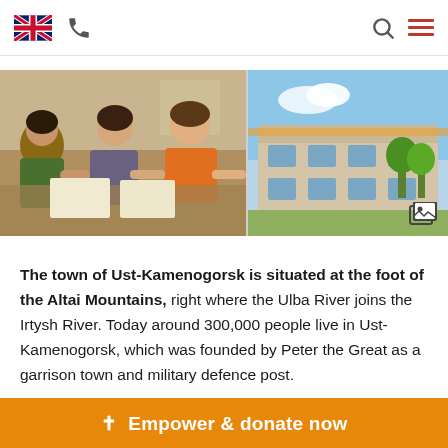Navigation bar with UK flag, phone icon, search icon, hamburger menu
[Figure (photo): Left side: photo of children sitting at a table doing work/drawing indoors. Right side: outdoor photo of a building with blue sky.]
The town of Ust-Kamenogorsk is situated at the foot of the Altai Mountains, right where the Ulba River joins the Irtysh River. Today around 300,000 people live in Ust-Kamenogorsk, which was founded by Peter the Great as a garrison town and military defence post.
✝ Empower & donate now